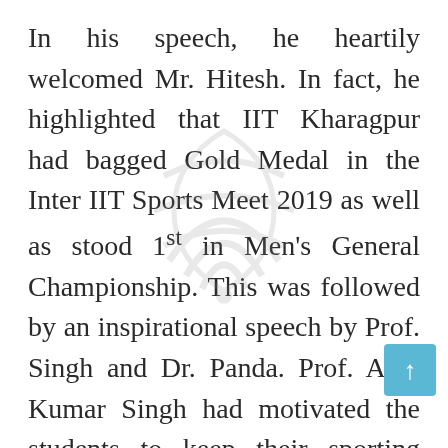In his speech, he heartily welcomed Mr. Hitesh. In fact, he highlighted that IIT Kharagpur had bagged Gold Medal in the Inter IIT Sports Meet 2019 as well as stood 1st in Men's General Championship. This was followed by an inspirational speech by Prof. Singh and Dr. Panda. Prof. Ajay Kumar Singh had motivated the students to keep their sporting spirits up in these challenging times and demonstrated about the sports facilities in campus. He also mentioned about the initiatives taken by the institute in upgrading the campus sports facilities during the pandemic situation. According to Dr. Sushant K Panda, sports is the only place where a person could learn from failure...